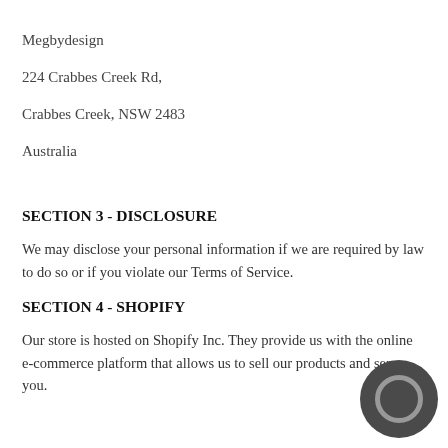Megbydesign
224 Crabbes Creek Rd,
Crabbes Creek, NSW 2483
Australia
SECTION 3 - DISCLOSURE
We may disclose your personal information if we are required by law to do so or if you violate our Terms of Service.
SECTION 4 - SHOPIFY
Our store is hosted on Shopify Inc. They provide us with the online e-commerce platform that allows us to sell our products and services to you.